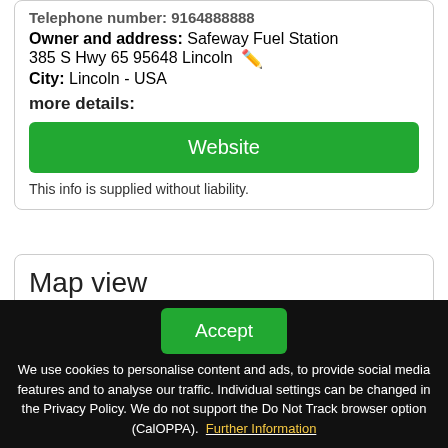Telephone number: 9164888888
Owner and address: Safeway Fuel Station 385 S Hwy 65 95648 Lincoln
City: Lincoln - USA
more details:
Website
This info is supplied without liability.
Map view
Click map to enlarge
Name: Safeway Fuel Station
95648 Lincoln S Hwy 65
Accept
We use cookies to personalise content and ads, to provide social media features and to analyse our traffic. Individual settings can be changed in the Privacy Policy. We do not support the Do Not Track browser option (CalOPPA). Further Information